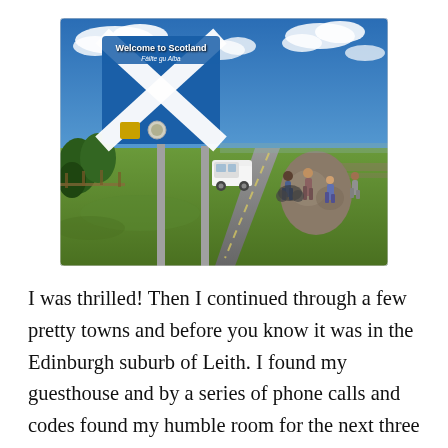[Figure (photo): Outdoor photo at the Scotland border. A blue 'Welcome to Scotland / Fàilte gu Alba' road sign with the Scottish Saltire (white X cross on blue) is in the foreground. Behind it is a road, a large rock, green fields, people walking, a white van, trees, and a partly cloudy blue sky.]
I was thrilled! Then I continued through a few pretty towns and before you know it was in the Edinburgh suburb of Leith. I found my guesthouse and by a series of phone calls and codes found my humble room for the next three days. It's basic. To